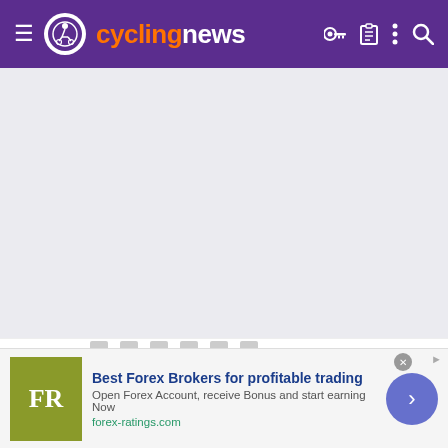cyclingnews
[Figure (screenshot): Large blank/grey content area placeholder below the navigation bar]
Ilmaestro99  Apr 13, 2021  2,346  4,205  9,180
[Figure (infographic): Advertisement banner: Best Forex Brokers for profitable trading. Open Forex Account, receive Bonus and start earning Now. forex-ratings.com]